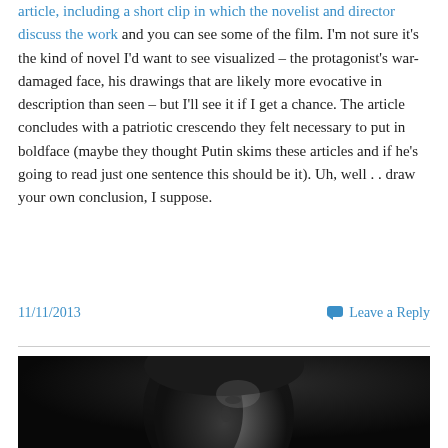article, including a short clip in which the novelist and director discuss the work and you can see some of the film. I'm not sure it's the kind of novel I'd want to see visualized – the protagonist's war-damaged face, his drawings that are likely more evocative in description than seen – but I'll see it if I get a chance. The article concludes with a patriotic crescendo they felt necessary to put in boldface (maybe they thought Putin skims these articles and if he's going to read just one sentence this should be it). Uh, well . . draw your own conclusion, I suppose.
11/11/2013    Leave a Reply
[Figure (photo): Black and white photograph of a person's face in partial shadow, looking downward or to the side, dramatic low-key lighting.]